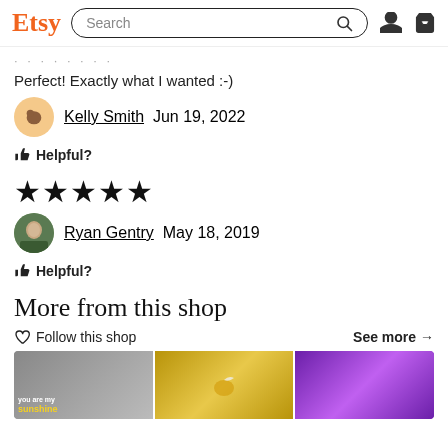Etsy Search
Perfect! Exactly what I wanted :-)
Kelly Smith  Jun 19, 2022
👍 Helpful?
★★★★★
Ryan Gentry  May 18, 2019
👍 Helpful?
More from this shop
♡ Follow this shop    See more →
[Figure (photo): Product images strip showing decorative pillows including grey, gold sequin, and purple sequin pillows]